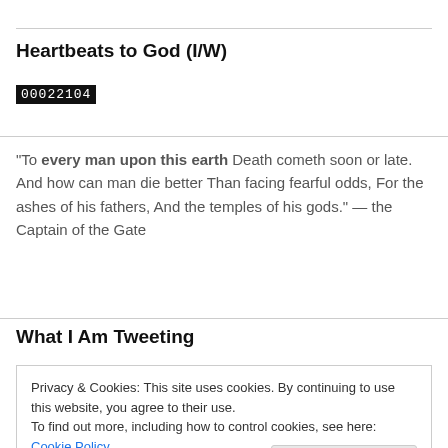Heartbeats to God (I/W)
00022104
"To every man upon this earth Death cometh soon or late. And how can man die better Than facing fearful odds, For the ashes of his fathers, And the temples of his gods." — the Captain of the Gate
What I Am Tweeting
Privacy & Cookies: This site uses cookies. By continuing to use this website, you agree to their use.
To find out more, including how to control cookies, see here: Cookie Policy
Close and accept